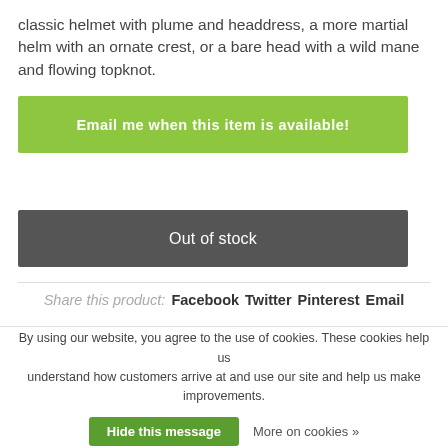classic helmet with plume and headdress, a more martial helm with an ornate crest, or a bare head with a wild mane and flowing topknot.
Email me when this item is available!
Out of stock
Share this product:  Facebook  Twitter  Pinterest  Email
By using our website, you agree to the use of cookies. These cookies help us understand how customers arrive at and use our site and help us make improvements.
Hide this message
More on cookies »